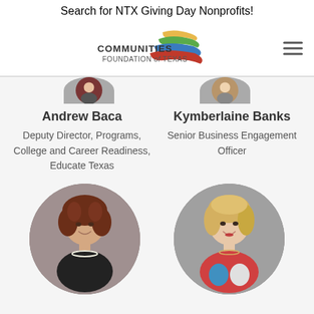Search for NTX Giving Day Nonprofits!
[Figure (logo): Communities Foundation of Texas logo with colorful swoosh graphic and text 'COMMUNITIES FOUNDATION of TEXAS']
[Figure (photo): Partial circular profile photo of Andrew Baca at top of page]
[Figure (photo): Partial circular profile photo of Kymberlaine Banks at top of page]
Andrew Baca
Kymberlaine Banks
Deputy Director, Programs, College and Career Readiness, Educate Texas
Senior Business Engagement Officer
[Figure (photo): Circular profile photo of a woman with curly brown hair, smiling, wearing a pearl necklace]
[Figure (photo): Circular profile photo of a blonde woman smiling, wearing a colorful top]